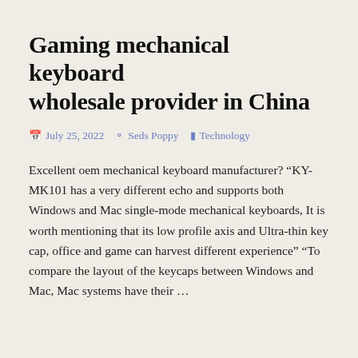Gaming mechanical keyboard wholesale provider in China
July 25, 2022  Seds Poppy  Technology
Excellent oem mechanical keyboard manufacturer? "KY-MK101 has a very different echo and supports both Windows and Mac single-mode mechanical keyboards, It is worth mentioning that its low profile axis and Ultra-thin key cap, office and game can harvest different experience" "To compare the layout of the keycaps between Windows and Mac, Mac systems have their ...